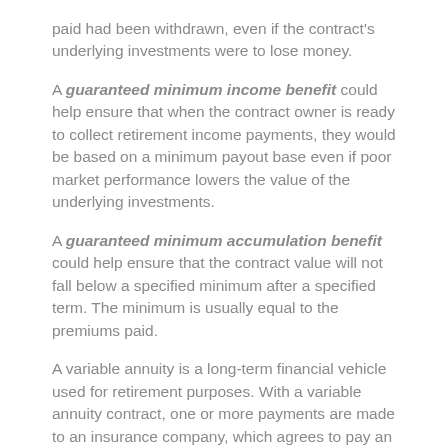paid had been withdrawn, even if the contract's underlying investments were to lose money.
A guaranteed minimum income benefit could help ensure that when the contract owner is ready to collect retirement income payments, they would be based on a minimum payout base even if poor market performance lowers the value of the underlying investments.
A guaranteed minimum accumulation benefit could help ensure that the contract value will not fall below a specified minimum after a specified term. The minimum is usually equal to the premiums paid.
A variable annuity is a long-term financial vehicle used for retirement purposes. With a variable annuity contract, one or more payments are made to an insurance company, which agrees to pay an income stream or a lump-sum amount at a later date. Variable annuities have contract limitations, fees,